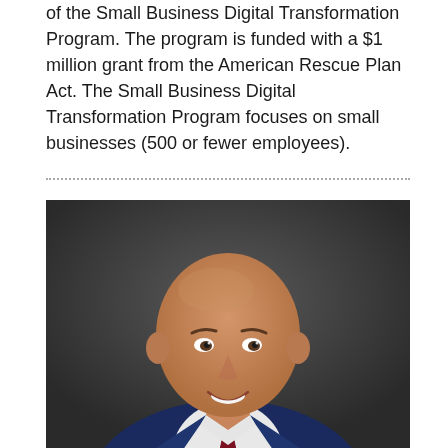of the Small Business Digital Transformation Program. The program is funded with a $1 million grant from the American Rescue Plan Act. The Small Business Digital Transformation Program focuses on small businesses (500 or fewer employees).
[Figure (photo): Professional headshot of a smiling bald man wearing a dark navy blue suit with a white shirt and red patterned tie, photographed against a dark gray background.]